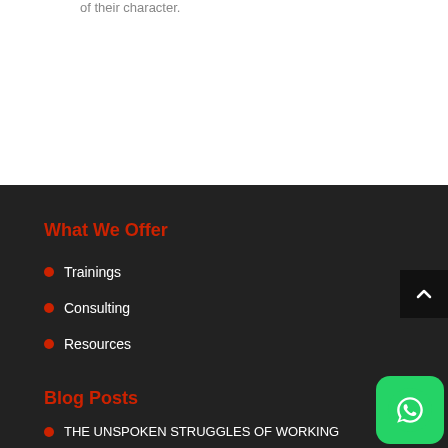of their character.
What We Offer
Trainings
Consulting
Resources
Blog Posts
THE UNSPOKEN STRUGGLES OF WORKING